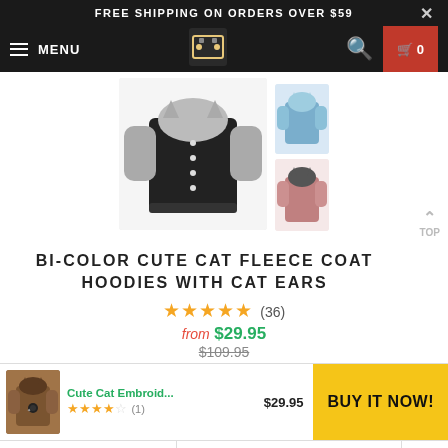FREE SHIPPING ON ORDERS OVER $59
[Figure (screenshot): E-commerce navigation bar with hamburger menu, MENU label, cat logo, search icon, and red cart button showing 0 items]
[Figure (photo): Product images: main large image of black and grey bi-color cat ear hoodie coat, two thumbnail images on the right (blue and pink variants)]
BI-COLOR CUTE CAT FLEECE COAT HOODIES WITH CAT EARS
★★★★★ (36)
from $29.95 $109.95
[Figure (photo): Small thumbnail of a brown cat embroidery hoodie product]
Cute Cat Embroid... $29.95 ★★★★☆ (1)
BUY IT NOW!
brown  ∨    M (US & EU SIZE: S) ∨    1